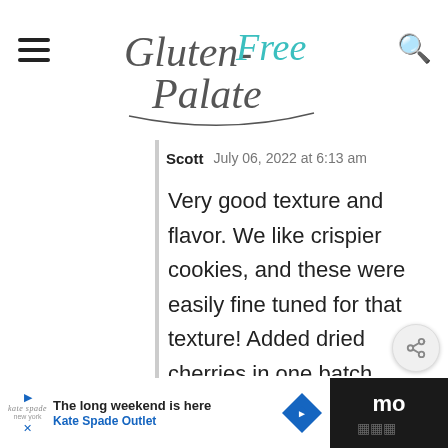Gluten-Free Palate
Scott   July 06, 2022 at 6:13 am
Very good texture and flavor. We like crispier cookies, and these were easily fine tuned for that texture! Added dried cherries in one batch which were sublime! Also, I tend to use 2 Tbsps. of sour cream in most of my GF cookie recipes...worked well